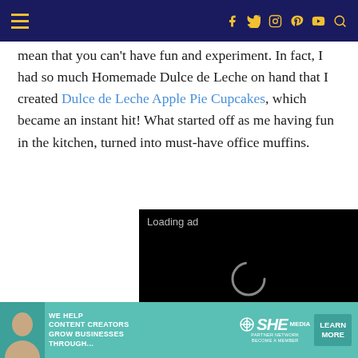Navigation bar with hamburger menu and social icons (Facebook, Twitter, Instagram, Pinterest, YouTube, Search)
mean that you can't have fun and experiment. In fact, I had so much Homemade Dulce de Leche on hand that I created Dulce de Leche Apple Pie Cupcakes, which became an instant hit! What started off as me having fun in the kitchen, turned into must-have office muffins.
[Figure (screenshot): Black video ad player showing 'Loading ad' text with a spinning loader icon and playback controls (pause, fullscreen, mute)]
[Figure (screenshot): Bottom advertisement banner: 'We help content creators grow businesses through...' with SHE Media Partner Network logo and 'Learn More' button on teal background]